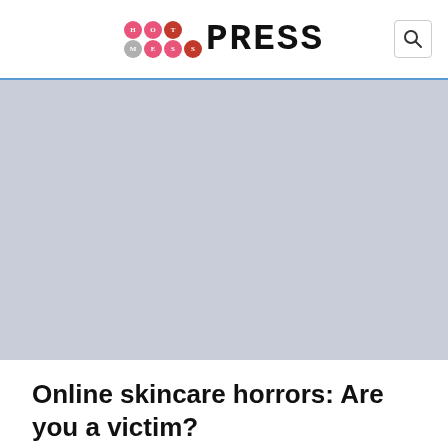Hot Mess Press
[Figure (photo): Large hero image placeholder with blue-grey background color, representing the article's featured image.]
Online skincare horrors: Are you a victim?